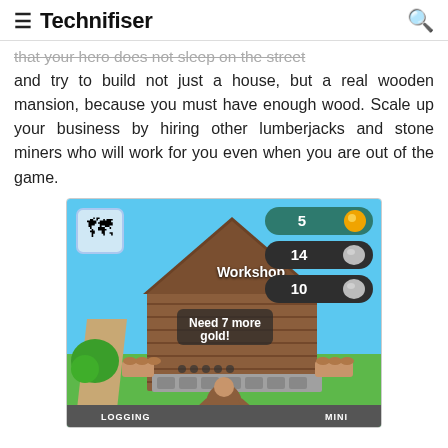Technifiser
that your hero does not sleep on the street and try to build not just a house, but a real wooden mansion, because you must have enough wood. Scale up your business by hiring other lumberjacks and stone miners who will work for you even when you are out of the game.
[Figure (screenshot): Screenshot of a mobile game showing a Workshop building with resource indicators: 5 gold, 14 stone, 10 stone. A 'Need 7 more gold!' message is displayed. The scene shows a wooden workshop building with a path on the left, a bush, log piles, and worker figures at the bottom.]